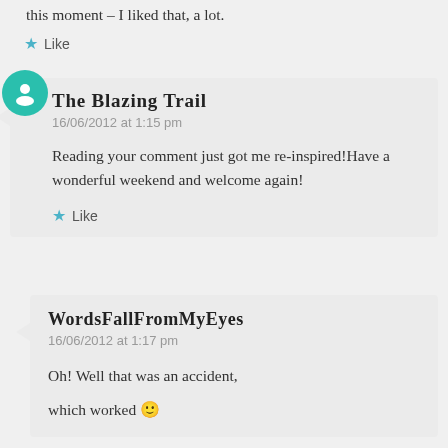this moment – I liked that, a lot.
Like
The Blazing Trail
16/06/2012 at 1:15 pm
Reading your comment just got me re-inspired!Have a wonderful weekend and welcome again!
Like
WordsFallFromMyEyes
16/06/2012 at 1:17 pm
Oh! Well that was an accident,
which worked 🙂